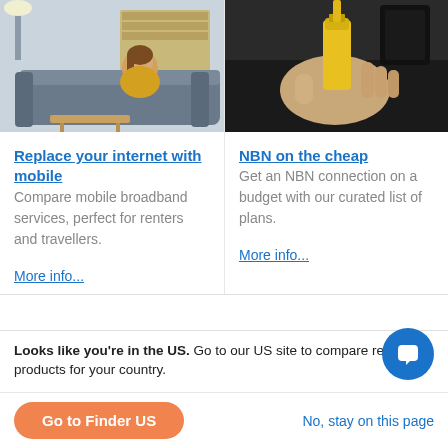[Figure (photo): Woman lying on a sofa using a phone, with bookshelves in the background]
[Figure (photo): Hand plugging a yellow ethernet/network cable into a port]
Replace your internet with mobile
NBN on the cheap
Compare mobile broadband services, perfect for renters and travellers.
Get an NBN connection on a budget with our curated list of plans.
More info...
More info...
Looks like you're in the US. Go to our US site to compare rele products for your country.
Go to Finder US
No, stay on this page